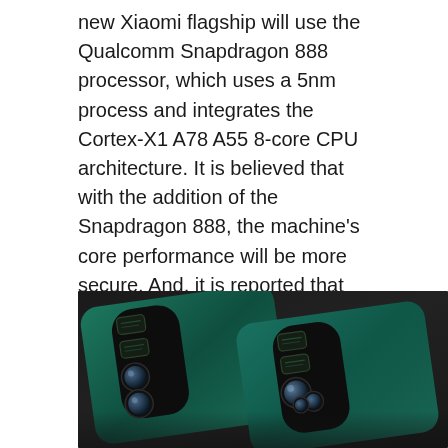new Xiaomi flagship will use the Qualcomm Snapdragon 888 processor, which uses a 5nm process and integrates the Cortex-X1 A78 A55 8-core CPU architecture. It is believed that with the addition of the Snapdragon 888, the machine's core performance will be more secure. And, it is reported that this new Xiaomi flagship machine has a high-capacity built-in battery of up to 6000mAh, and supports 120W super fast charging technology; if this is the case, the addition of a large battery of 6000mAh extends the machine's battery life beyond expectation. Xiaomi's light-killing app!
[Figure (photo): Two teal/green Xiaomi smartphones placed side by side on a dark background, showing their rear camera modules. Each phone has a rectangular camera module with multiple lenses and small display icons.]